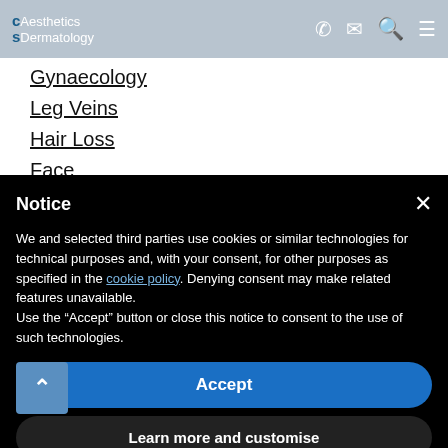CS Aesthetics Dermatology — navigation header with phone, email, search, and menu icons
Gynaecology
Leg Veins
Hair Loss
Face
Notice
We and selected third parties use cookies or similar technologies for technical purposes and, with your consent, for other purposes as specified in the cookie policy. Denying consent may make related features unavailable.
Use the "Accept" button or close this notice to consent to the use of such technologies.
Accept
Learn more and customise